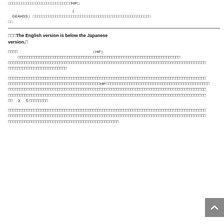□□□□□□□□□□□□□□□□□□□□□□□□□□□□HiF□
（GEAHSS）□□□□□□□□□□□□□□□□□□□□□□□□□□□□□□□□□□□□□□□□□□□□□□□□□□□□
□□□The English version is below the Japanese version.□
□□□□　　　　　　　　　　　　　　　　　　　　（HiF）　□□□□□□□□□□□□□□□□□□□□□□□□□□□□□□□□□□□□□□□□□□□□□□□□□□□□□□□□□□□□□□□□□□□□□□□□□□□□□□□□□□□□□□□□□□
□□□□□□□□□□□□□□□□□□□□□□□□□□□□□□□□□□□□□□□□□□□□□□□□□□□□□□□□□□□□□□□□□□□□HiF□□□□□□□□□□□□□□□□□□□□□□□□□□□□□□□□□□□□□□□□□□□□□□□□□□□□□□□□□□□□□□□□□□□□□□□□□□□□□□□□□□□□□□□□□□□□□□□□  ３　５□□□□□□□□
□□□□□□□□□□□□□□□□□□□□□□□□□□□□□□□□□□□□□□□□□□□□□□□□□□□□□□□□□□□□□□□□□□□□□□□□□□□□□□□□□□□□□□□□□□□□□□□□□□□□□□□□□□□□□□□□□□□□□□□□□□□□□□□□□□□□□□□□□□□□□□□□□□□□□□□□□□□□□□□□□□□□□□□□□□□□